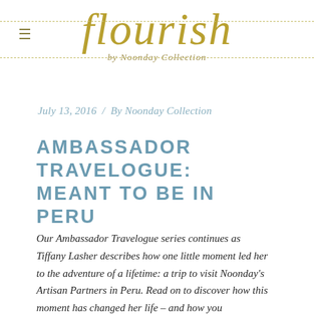flourish by Noonday Collection
July 13, 2016  /  By Noonday Collection
AMBASSADOR TRAVELOGUE: MEANT TO BE IN PERU
Our Ambassador Travelogue series continues as Tiffany Lasher describes how one little moment led her to the adventure of a lifetime: a trip to visit Noonday's Artisan Partners in Peru. Read on to discover how this moment has changed her life – and how you